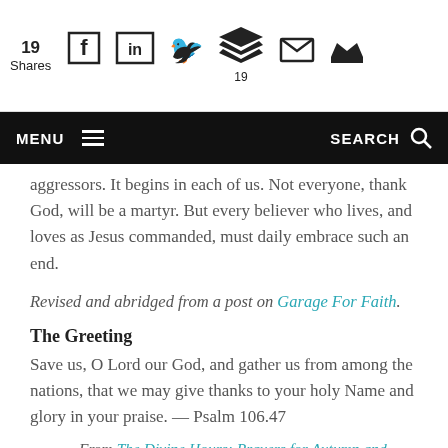19 Shares | Social share icons (Facebook, LinkedIn, Twitter, Buffer x19, Email, Crown)
MENU  [hamburger]  SEARCH [magnifier]
aggressors. It begins in each of us. Not everyone, thank God, will be a martyr. But every believer who lives, and loves as Jesus commanded, must daily embrace such an end.
Revised and abridged from a post on Garage For Faith.
The Greeting
Save us, O Lord our God, and gather us from among the nations, that we may give thanks to your holy Name and glory in your praise. — Psalm 106.47
— From The Divine Hours: Prayers for Autumn and